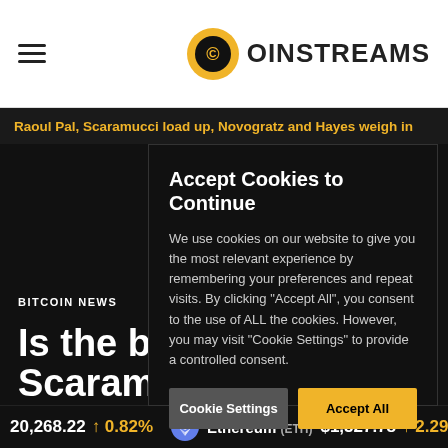[Figure (logo): Coinstreams logo with yellow/black circular icon and bold uppercase COINSTREAMS text]
Raoul Pal, Scaramucci load up, Novogratz and Hayes weigh in
BITCOIN NEWS
Is the bo Scaram Novogra weigh in
Accept Cookies to Continue

We use cookies on our website to give you the most relevant experience by remembering your preferences and repeat visits. By clicking "Accept All", you consent to the use of ALL the cookies. However, you may visit "Cookie Settings" to provide a controlled consent.
Cookie Settings   Accept All
20,268.22  ↑ 0.82%   Ethereum (ETH)  $1,527.78  ↑ 2.29%